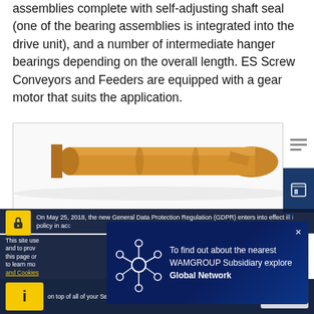assemblies complete with self-adjusting shaft seal (one of the bearing assemblies is integrated into the drive unit), and a number of intermediate hanger bearings depending on the overall length. ES Screw Conveyors and Feeders are equipped with a gear motor that suits the application.
[Figure (photo): Screw conveyor / feeder product image showing a tubular screw conveyor in gold/bronze color, partially visible]
On May 25, 2018, the new General Data Protection Regulation (GDPR) enters into effect in all European countries. We have updated our privacy policy in accordance with GDPR requirements.
This site uses cookies to improve your browsing experience and to provide social media features, and to improve and customize content and advertising. By continuing on this page or by clicking Accept, you agree to our use of cookies. It you want to learn more about our use of cookies or to change your settings, Privacy Policy and Cookies
[Figure (infographic): WAMGROUP popup overlay: network/hub icon on dark blue gradient background with text 'To find out about the nearest WAMGROUP Subsidiary explore Global Network']